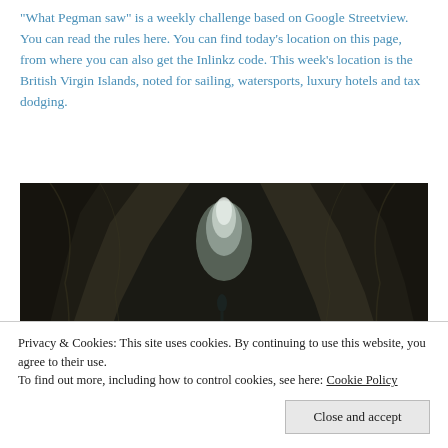"What Pegman saw" is a weekly challenge based on Google Streetview. You can read the rules here. You can find today's location on this page,  from where you can also get the Inlinkz code. This week's location is the British Virgin Islands, noted for sailing, watersports, luxury hotels and tax dodging.
[Figure (photo): A narrow sea cave or grotto between large dark rock formations with turquoise water below and light visible at the far end.]
Privacy & Cookies: This site uses cookies. By continuing to use this website, you agree to their use.
To find out more, including how to control cookies, see here: Cookie Policy